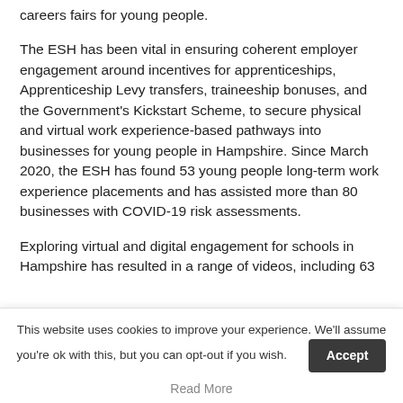careers fairs for young people.
The ESH has been vital in ensuring coherent employer engagement around incentives for apprenticeships, Apprenticeship Levy transfers, traineeship bonuses, and the Government's Kickstart Scheme, to secure physical and virtual work experience-based pathways into businesses for young people in Hampshire. Since March 2020, the ESH has found 53 young people long-term work experience placements and has assisted more than 80 businesses with COVID-19 risk assessments.
Exploring virtual and digital engagement for schools in Hampshire has resulted in a range of videos, including 63
This website uses cookies to improve your experience. We'll assume you're ok with this, but you can opt-out if you wish.
Accept
Read More